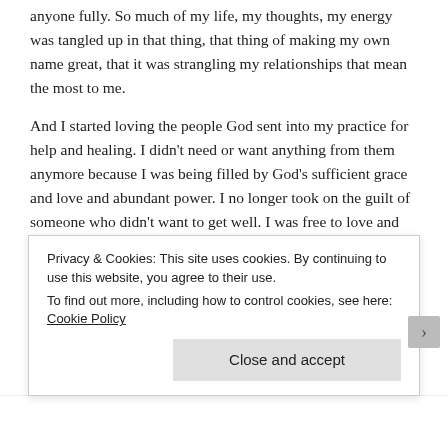anyone fully. So much of my life, my thoughts, my energy was tangled up in that thing, that thing of making my own name great, that it was strangling my relationships that mean the most to me.
And I started loving the people God sent into my practice for help and healing. I didn't need or want anything from them anymore because I was being filled by God's sufficient grace and love and abundant power. I no longer took on the guilt of someone who didn't want to get well. I was free to love and serve and give because my emotional and intellectual wellness was found in my Savior, no longer in how other people responded to my will. It was the beginning of death to self.
Privacy & Cookies: This site uses cookies. By continuing to use this website, you agree to their use. To find out more, including how to control cookies, see here: Cookie Policy